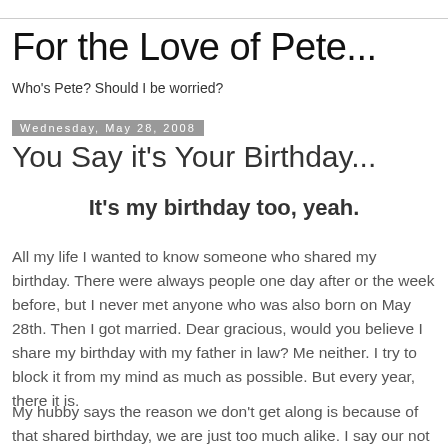For the Love of Pete...
Who's Pete? Should I be worried?
Wednesday, May 28, 2008
You Say it's Your Birthday...
It's my birthday too, yeah.
All my life I wanted to know someone who shared my birthday. There were always people one day after or the week before, but I never met anyone who was also born on May 28th. Then I got married. Dear gracious, would you believe I share my birthday with my father in law? Me neither. I try to block it from my mind as much as possible. But every year, there it is.
My hubby says the reason we don't get along is because of that shared birthday, we are just too much alike. I say our not